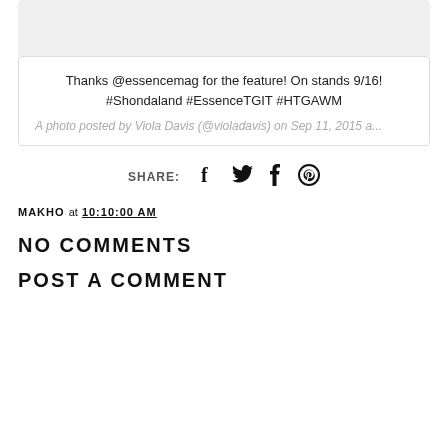[Figure (screenshot): Embedded Instagram post card with gray image area at top, caption text, and attribution line]
Thanks @essencemag for the feature! On stands 9/16! #Shondaland #EssenceTGIT #HTGAWM
A photo posted by Viola Davis (@violadavis) on Sep 11, 2015 a...
SHARE:
MAKHO AT 10:10:00 AM
NO COMMENTS
POST A COMMENT